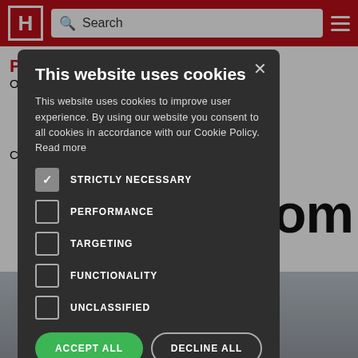[Figure (screenshot): Website header with red background, H logo, search bar, and hamburger menu icon]
[Figure (screenshot): Cookie consent modal dialog on dark overlay. Title: 'This website uses cookies'. Body text: 'This website uses cookies to improve user experience. By using our website you consent to all cookies in accordance with our Cookie Policy. Read more'. Checkbox options: STRICTLY NECESSARY (checked), PERFORMANCE, TARGETING, FUNCTIONALITY, UNCLASSIFIED. Buttons: ACCEPT ALL (green), DECLINE ALL. Show Details link at bottom.]